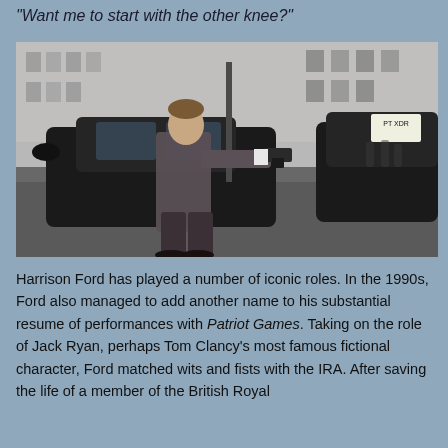“Want me to start with the other knee?”
[Figure (photo): Harrison Ford as Jack Ryan in Patriot Games, crouching behind a black car on a London street aiming a handgun, wearing a grey suit.]
Harrison Ford has played a number of iconic roles. In the 1990s, Ford also managed to add another name to his substantial resume of performances with Patriot Games. Taking on the role of Jack Ryan, perhaps Tom Clancy’s most famous fictional character, Ford matched wits and fists with the IRA. After saving the life of a member of the British Royal Family, Ryan and his family is targeted by a rogue IRA...